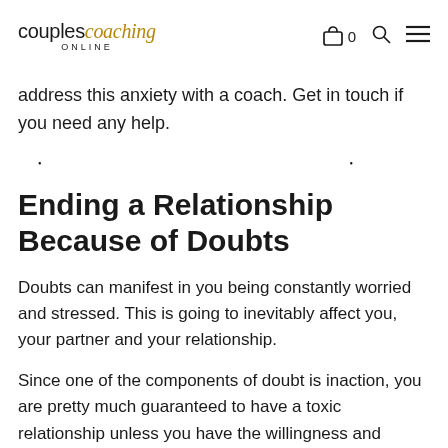couplescoaching ONLINE
address this anxiety with a coach. Get in touch if you need any help.
· · ·
Ending a Relationship Because of Doubts
Doubts can manifest in you being constantly worried and stressed. This is going to inevitably affect you, your partner and your relationship.
Since one of the components of doubt is inaction, you are pretty much guaranteed to have a toxic relationship unless you have the willingness and